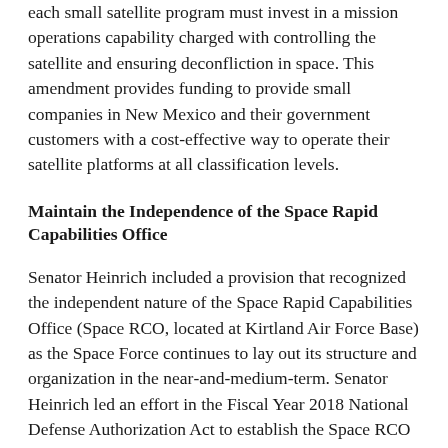each small satellite program must invest in a mission operations capability charged with controlling the satellite and ensuring deconfliction in space. This amendment provides funding to provide small companies in New Mexico and their government customers with a cost-effective way to operate their satellite platforms at all classification levels.
Maintain the Independence of the Space Rapid Capabilities Office
Senator Heinrich included a provision that recognized the independent nature of the Space Rapid Capabilities Office (Space RCO, located at Kirtland Air Force Base) as the Space Force continues to lay out its structure and organization in the near-and-medium-term. Senator Heinrich led an effort in the Fiscal Year 2018 National Defense Authorization Act to establish the Space RCO as an independent organization with unique acquisition authorities and a direct reporting chain to the